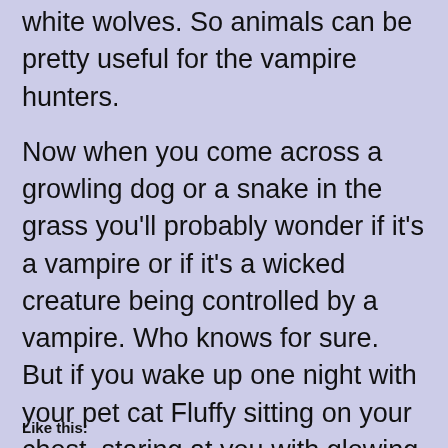white wolves. So animals can be pretty useful for the vampire hunters.
Now when you come across a growling dog or a snake in the grass you'll probably wonder if it's a vampire or if it's a wicked creature being controlled by a vampire. Who knows for sure. But if you wake up one night with your pet cat Fluffy sitting on your chest, staring at you with glowing eyes you better hope it's kitty kibble it wants… and not your blood.
– Moonlight
Like this: